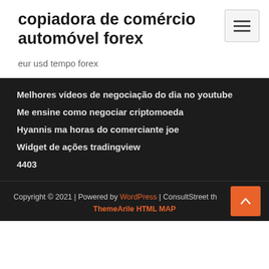copiadora de comércio automóvel forex
eur usd tempo forex
Melhores vídeos de negociação do dia no youtube
Me ensine como negociar criptomoeda
Hyannis ma horas do comerciante joe
Widget de ações tradingview
4403
Copyright © 2021 | Powered by WordPress | ConsultStreet theme by ThemeArile HTML MAP